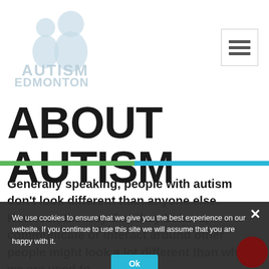[Figure (logo): Autism Edmonton logo — faded light blue silhouette of two people with 'AUTISM EDMONTON' text below]
[Figure (other): Hamburger menu button (three horizontal bars) in a bordered square, top right]
ABOUT AUTISM
Generally speaking, people with autism don't look different than anyone else. However, the way that they behave, communicate or interact around other people might look a lot different than what we are used to.
We use cookies to ensure that we give you the best experience on our website. If you continue to use this site we will assume that you are happy with it.
Ok